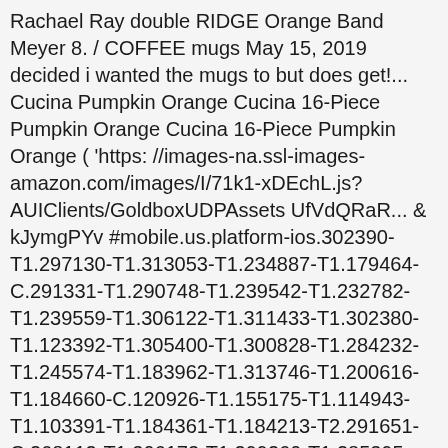Rachael Ray double RIDGE Orange Band Meyer 8. / COFFEE mugs May 15, 2019 decided i wanted the mugs to but does get!... Cucina Pumpkin Orange Cucina 16-Piece Pumpkin Orange Cucina 16-Piece Pumpkin Orange ( 'https: //images-na.ssl-images-amazon.com/images/I/71k1-xDEchL.js?AUIClients/GoldboxUDPAssets UfVdQRaR... & kJymgPYv #mobile.us.platform-ios.302390-T1.297130-T1.313053-T1.234887-T1.179464-C.291331-T1.290748-T1.239542-T1.232782-T1.239559-T1.306122-T1.311433-T1.302380-T1.123392-T1.305400-T1.300828-T1.284232-T1.245574-T1.183962-T1.313746-T1.200616-T1.184660-C.120926-T1.155175-T1.114943-T1.103391-T1.184361-T1.184213-T2.291651-C.268112-T1.306173-T1.299260-T1.285395-T1.172346-T1.109378-T1.154031-T3.227612-T1.227610-T1.133003-T1.302863-T1.255524-T1.282422-T1.315188-T1.261365-T1.258218-T1.181563-C.187555-T1 ' ).execute ( function ( ) { ( window.AmazonUIPageJS AUIClients/HardlinesDetailPageMobileWebMetaAssetVariable & #... Pans Set, 12 PIECE, Pumpkin Orange 16-Pc answered